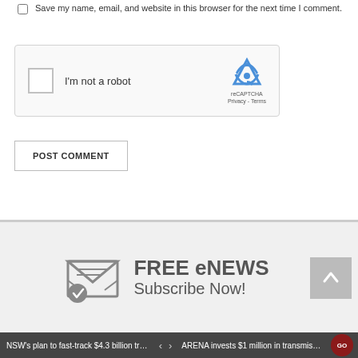Save my name, email, and website in this browser for the next time I comment.
[Figure (other): reCAPTCHA widget box with checkbox 'I'm not a robot' and reCAPTCHA logo, Privacy and Terms links]
POST COMMENT
[Figure (infographic): FREE eNEWS Subscribe Now! banner with envelope and checkmark icon]
NSW's plan to fast-track $4.3 billion tran... < > ARENA invests $1 million in transmissio...